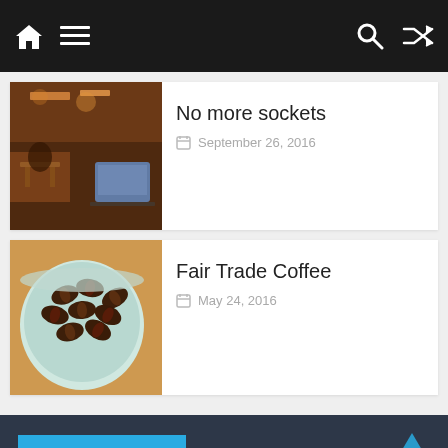Navigation bar with home, menu, search, and shuffle icons
No more sockets
September 26, 2016
[Figure (photo): Interior of a coffee shop with warm lighting, people sitting, laptop visible]
Fair Trade Coffee
May 24, 2016
[Figure (photo): Close-up of coffee beans in a blue bowl on a wooden surface]
About this site
My name is Herbert van Vliet. I'm Dutch, and work with YWAM. I love coffee and would love for you to have a good time